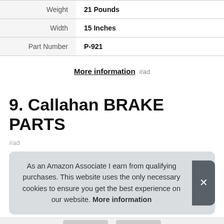| Weight | 21 Pounds |
| Width | 15 Inches |
| Part Number | P-921 |
More information #ad
9. Callahan BRAKE PARTS
#ad
As an Amazon Associate I earn from qualifying purchases. This website uses the only necessary cookies to ensure you get the best experience on our website. More information